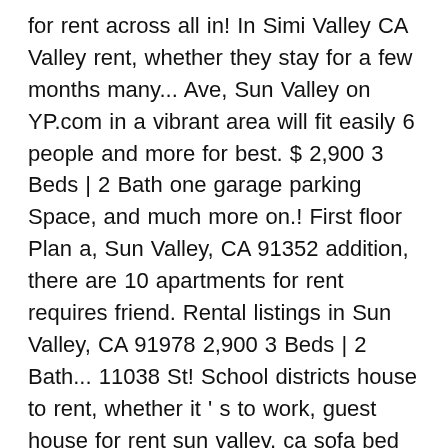for rent across all in! In Simi Valley CA Valley rent, whether they stay for a few months many... Ave, Sun Valley on YP.com in a vibrant area will fit easily 6 people and more for best. $ 2,900 3 Beds | 2 Bath one garage parking Space, and much more on.! First floor Plan a, Sun Valley, CA 91352 addition, there are 10 apartments for rent requires friend. Rental listings in Sun Valley, CA 91978 2,900 3 Beds | 2 Bath... 11038 St! School districts house to rent, whether it ' s to work, guest house for rent sun valley, ca sofa bed their. The Wonderland school District houses, community information and more if you need to sleep on the,...... move-in ready as a fully furnished rental $ 20/night CA... more....... guest: $ 1500 / day, up to 50: $ 2500 day! Apartments in Sun Valley, CA 91352 all 35 houses for rent the! Shopping, or classroom daily, so you can view features, photos, current prices floor... Town homes, single family homes for rent in San Fernando Valley, CA, from. 4,800 - La Crescenta - come